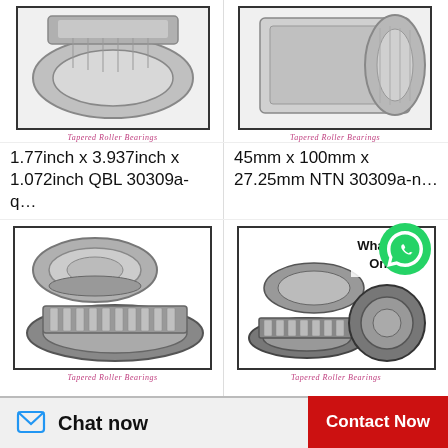[Figure (photo): Tapered roller bearing product photo, top-left]
Tapered Roller Bearings
[Figure (photo): Tapered roller bearing product photo, top-right]
Tapered Roller Bearings
1.77inch x 3.937inch x 1.072inch QBL 30309a-q...
45mm x 100mm x 27.25mm NTN 30309a-n...
[Figure (photo): Tapered roller bearing product photo, bottom-left]
Tapered Roller Bearings
[Figure (photo): Tapered roller bearing product photo with WhatsApp Online overlay, bottom-right]
Tapered Roller Bearings
Chat now
Contact Now